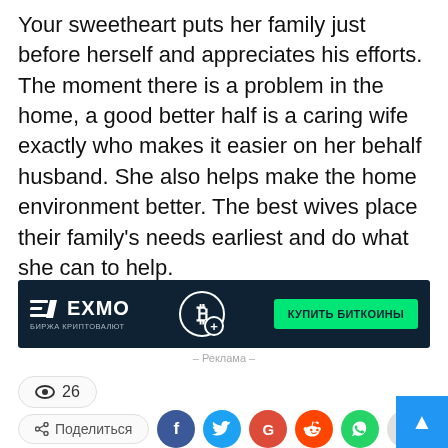Your sweetheart puts her family just before herself and appreciates his efforts. The moment there is a problem in the home, a good better half is a caring wife exactly who makes it easier on her behalf husband. She also helps make the home environment better. The best wives place their family's needs earliest and do what she can to help.
[Figure (screenshot): EXMO cryptocurrency exchange advertisement banner with dark background. Shows EXMO logo on left with 'БИРЖА КРИПТОВАЛЮТ' subtitle, Bitcoin icon in center, and green button 'КУПИТЬ БИТКОИНЫ' on right.]
– Реклама –
26
Поделиться